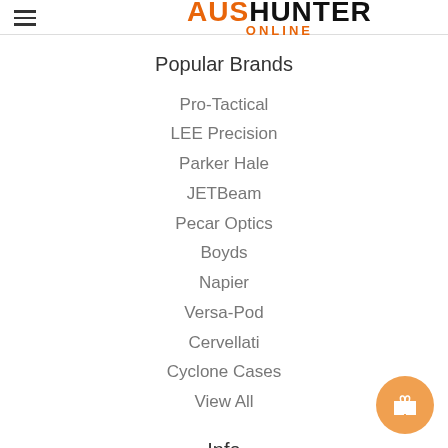AusHunter Online
Popular Brands
Pro-Tactical
LEE Precision
Parker Hale
JETBeam
Pecar Optics
Boyds
Napier
Versa-Pod
Cervellati
Cyclone Cases
View All
Info
AusHunter Online
PO Box 2133